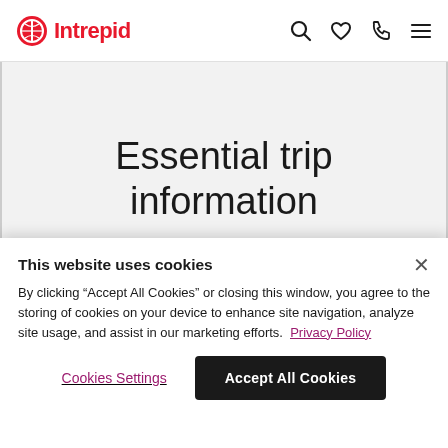Intrepid
Essential trip information
Want an in-depth insight into this trip?
This website uses cookies
By clicking "Accept All Cookies" or closing this window, you agree to the storing of cookies on your device to enhance site navigation, analyze site usage, and assist in our marketing efforts. Privacy Policy
Cookies Settings
Accept All Cookies